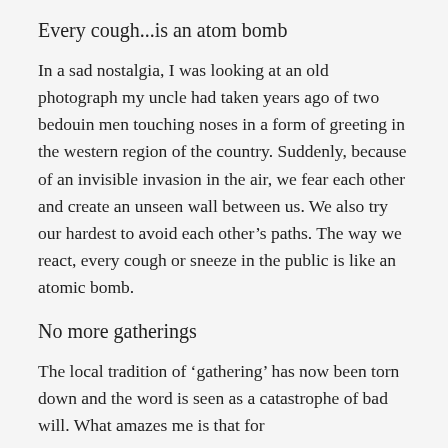Every cough...is an atom bomb
In a sad nostalgia, I was looking at an old photograph my uncle had taken years ago of two bedouin men touching noses in a form of greeting in the western region of the country. Suddenly, because of an invisible invasion in the air, we fear each other and create an unseen wall between us. We also try our hardest to avoid each other’s paths. The way we react, every cough or sneeze in the public is like an atomic bomb.
No more gatherings
The local tradition of ‘gathering’ has now been torn down and the word is seen as a catastrophe of bad will. What amazes me is that for